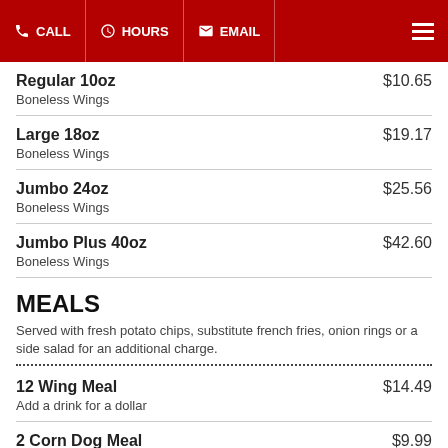CALL | HOURS | EMAIL
Regular 10oz — Boneless Wings — $10.65
Large 18oz — Boneless Wings — $19.17
Jumbo 24oz — Boneless Wings — $25.56
Jumbo Plus 40oz — Boneless Wings — $42.60
MEALS
Served with fresh potato chips, substitute french fries, onion rings or a side salad for an additional charge.
12 Wing Meal — Add a drink for a dollar — $14.49
2 Corn Dog Meal — $9.99